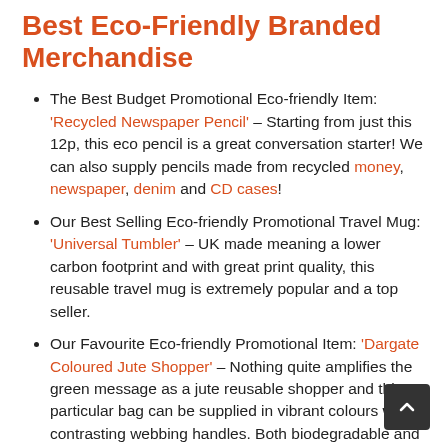Best Eco-Friendly Branded Merchandise
The Best Budget Promotional Eco-friendly Item: 'Recycled Newspaper Pencil' – Starting from just this 12p, this eco pencil is a great conversation starter! We can also supply pencils made from recycled money, newspaper, denim and CD cases!
Our Best Selling Eco-friendly Promotional Travel Mug: 'Universal Tumbler' – UK made meaning a lower carbon footprint and with great print quality, this reusable travel mug is extremely popular and a top seller.
Our Favourite Eco-friendly Promotional Item: 'Dargate Coloured Jute Shopper' – Nothing quite amplifies the green message as a jute reusable shopper and this particular bag can be supplied in vibrant colours with contrasting webbing handles. Both biodegradable and recyclable, this eco-friendly